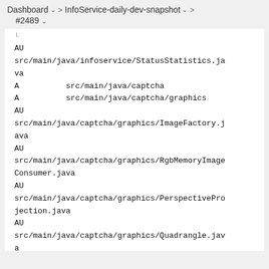Dashboard > InfoService-daily-dev-snapshot > #2489
AU
src/main/java/infoservice/StatusStatistics.java
A          src/main/java/captcha
A          src/main/java/captcha/graphics
AU
src/main/java/captcha/graphics/ImageFactory.java
AU
src/main/java/captcha/graphics/RgbMemoryImageConsumer.java
AU
src/main/java/captcha/graphics/PerspectiveProjection.java
AU
src/main/java/captcha/graphics/Quadrangle.java